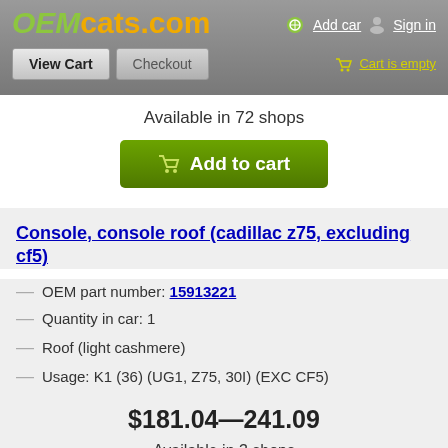OEMcats.com  Add car  Sign in
View Cart  Checkout  Cart is empty
Available in 72 shops
Add to cart
Console, console roof (cadillac z75, excluding cf5)
OEM part number: 15913221
Quantity in car: 1
Roof (light cashmere)
Usage: K1 (36) (UG1, Z75, 30I) (EXC CF5)
$181.04—241.09
Available in 3 shops